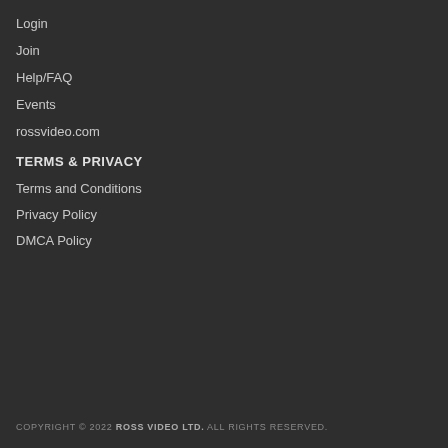Login
Join
Help/FAQ
Events
rossvideo.com
TERMS & PRIVACY
Terms and Conditions
Privacy Policy
DMCA Policy
COPYRIGHT © 2022 ROSS VIDEO LTD. ALL RIGHTS RESERVED.